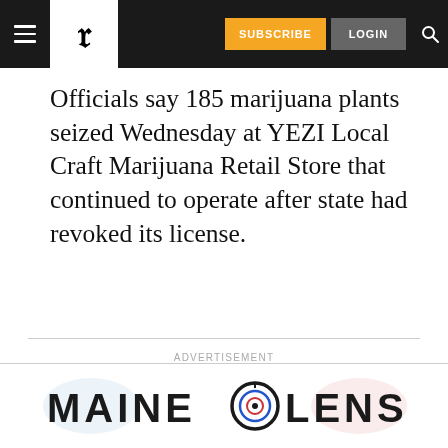Portland Press Herald — SUBSCRIBE | LOGIN
Officials say 185 marijuana plants seized Wednesday at YEZI Local Craft Marijuana Retail Store that continued to operate after state had revoked its license.
ADVERTISEMENT
[Figure (logo): Maine Lens logo with circular lens graphic]